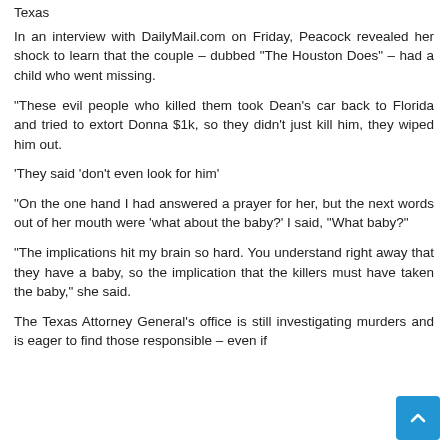Texas
In an interview with DailyMail.com on Friday, Peacock revealed her shock to learn that the couple – dubbed "The Houston Does" – had a child who went missing.
"These evil people who killed them took Dean's car back to Florida and tried to extort Donna $1k, so they didn't just kill him, they wiped him out.
'They said 'don't even look for him'
"On the one hand I had answered a prayer for her, but the next words out of her mouth were 'what about the baby?' I said, "What baby?"
"The implications hit my brain so hard. You understand right away that they have a baby, so the implication that the killers must have taken the baby," she said.
The Texas Attorney General's office is still investigating murders and is eager to find those responsible – even if